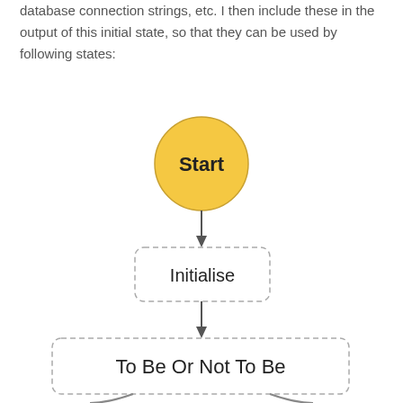database connection strings, etc. I then include these in the output of this initial state, so that they can be used by following states:
[Figure (flowchart): Flowchart showing: Start (yellow circle) -> Initialise (dashed rounded rectangle) -> To Be Or Not To Be (dashed rounded rectangle), with two arrows branching below the last box.]